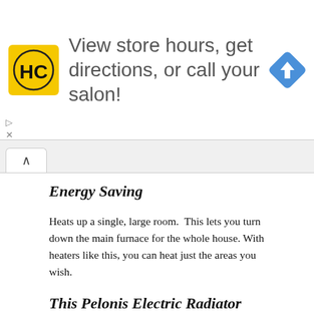[Figure (other): Advertisement banner for HC (Hair Club) salon: yellow logo with HC initials, text 'View store hours, get directions, or call your salon!' and a blue diamond navigation icon]
Energy Saving
Heats up a single, large room.  This lets you turn down the main furnace for the whole house. With heaters like this, you can heat just the areas you wish.
This Pelonis Electric Radiator Heater Offers Simple Setup
Four wing nuts attach the two sets of two wheel casters each to the underside of the unit.  Do not